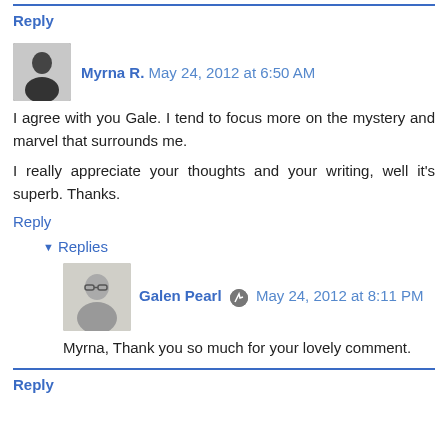Reply
Myrna R. May 24, 2012 at 6:50 AM
I agree with you Gale. I tend to focus more on the mystery and marvel that surrounds me.

I really appreciate your thoughts and your writing, well it's superb. Thanks.
Reply
Replies
Galen Pearl May 24, 2012 at 8:11 PM
Myrna, Thank you so much for your lovely comment.
Reply